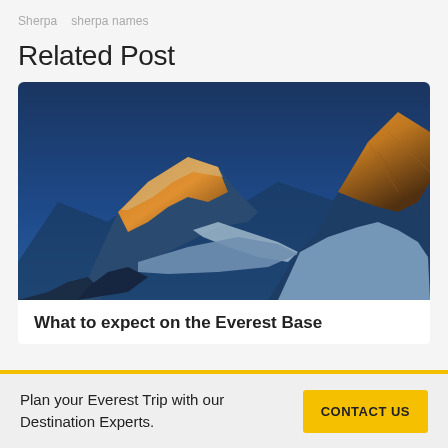Sherpa  sherpa names
Related Post
[Figure (photo): Sunrise golden light on snow-capped Himalayan peaks, likely Everest and Nuptse, against a deep blue sky]
What to expect on the Everest Base
Plan your Everest Trip with our Destination Experts.
CONTACT US